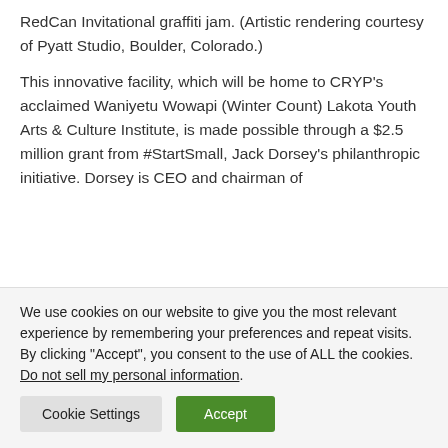RedCan Invitational graffiti jam. (Artistic rendering courtesy of Pyatt Studio, Boulder, Colorado.)
This innovative facility, which will be home to CRYP’s acclaimed Waniyetu Wowapi (Winter Count) Lakota Youth Arts & Culture Institute, is made possible through a $2.5 million grant from #StartSmall, Jack Dorsey’s philanthropic initiative. Dorsey is CEO and chairman of
We use cookies on our website to give you the most relevant experience by remembering your preferences and repeat visits. By clicking “Accept”, you consent to the use of ALL the cookies. Do not sell my personal information.